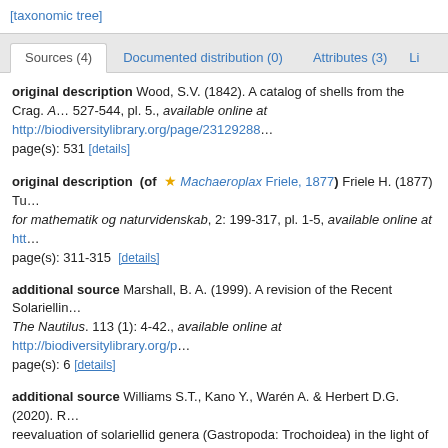[taxonomic tree]
Sources (4) | Documented distribution (0) | Attributes (3) | Li...
original description Wood, S.V. (1842). A catalog of shells from the Crag. A... 527-544, pl. 5., available online at http://biodiversitylibrary.org/page/23129288... page(s): 531 [details]
original description (of ★ Machaeroplax Friele, 1877) Friele H. (1877) Tu... for mathematik og naturvidenskab, 2: 199-317, pl. 1-5, available online at htt... page(s): 311-315 [details]
additional source Marshall, B. A. (1999). A revision of the Recent Solariellin... The Nautilus. 113 (1): 4-42., available online at http://biodiversitylibrary.org/p... page(s): 6 [details]
additional source Williams S.T., Kano Y., Warén A. & Herbert D.G. (2020). Re... reevaluation of solariellid genera (Gastropoda: Trochoidea) in the light of mo... Studies. 86(1): 1–26., available online at https://doi.org/10.1093/mollus/eyz0... page(s): 6 [details] Available for editors